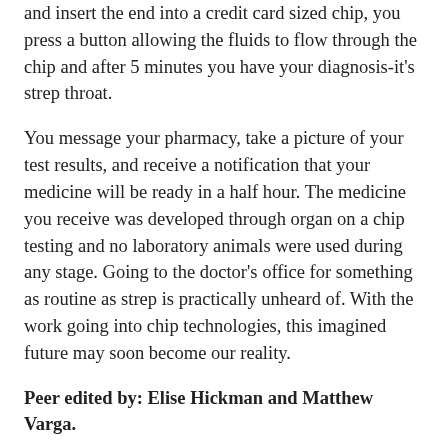and insert the end into a credit card sized chip, you press a button allowing the fluids to flow through the chip and after 5 minutes you have your diagnosis-it's strep throat.
You message your pharmacy, take a picture of your test results, and receive a notification that your medicine will be ready in a half hour. The medicine you receive was developed through organ on a chip testing and no laboratory animals were used during any stage. Going to the doctor's office for something as routine as strep is practically unheard of. With the work going into chip technologies, this imagined future may soon become our reality.
Peer edited by: Elise Hickman and Matthew Varga.